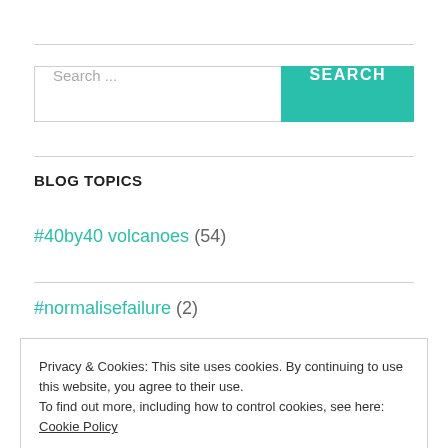[Figure (screenshot): Search bar with text input 'Search ...' and teal SEARCH button]
BLOG TOPICS
#40by40 volcanoes (54)
#normalisefailure (2)
Privacy & Cookies: This site uses cookies. By continuing to use this website, you agree to their use.
To find out more, including how to control cookies, see here: Cookie Policy
Close and accept